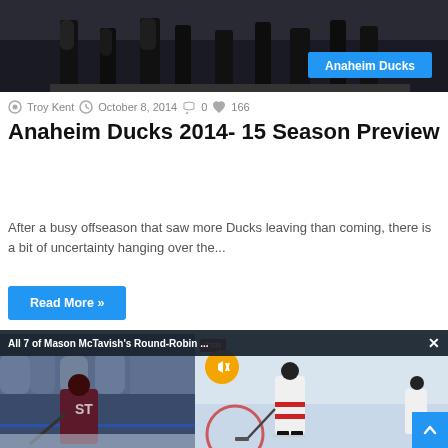[Figure (photo): Hockey team players standing on ice, lower half visible showing skates and legs, with Anaheim Ducks tag overlay]
Troy Kent  October 8, 2014  0  166
Anaheim Ducks 2014- 15 Season Preview
After a busy offseason that saw more Ducks leaving than coming, there is a bit of uncertainty hanging over the...
Read More »
[Figure (photo): Two hockey photos side by side: left shows a hockey player in dark uniform on ice with crowd, right shows a hockey player in white Canada uniform on ice with TSN logo, mute button overlay, and video title bar 'All 7 of Mason McTavish's Round-Robin ...']